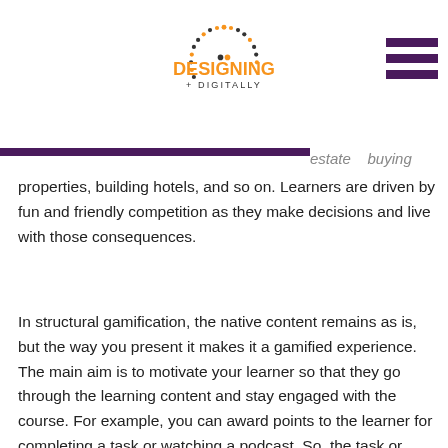[Figure (logo): Designing Digitally logo with dotted circle and orange/black text]
estate buying properties, building hotels, and so on. Learners are driven by fun and friendly competition as they make decisions and live with those consequences.
In structural gamification, the native content remains as is, but the way you present it makes it a gamified experience. The main aim is to motivate your learner so that they go through the learning content and stay engaged with the course. For example, you can award points to the learner for completing a task or watching a podcast. So, the task or podcast does not have any game elements except for the fact that you get points to do it. Structural gamification